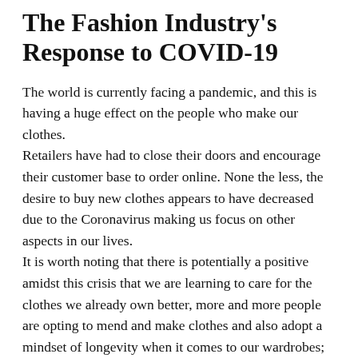The Fashion Industry's Response to COVID-19
The world is currently facing a pandemic, and this is having a huge effect on the people who make our clothes.
Retailers have had to close their doors and encourage their customer base to order online. None the less, the desire to buy new clothes appears to have decreased due to the Coronavirus making us focus on other aspects in our lives.
It is worth noting that there is potentially a positive amidst this crisis that we are learning to care for the clothes we already own better, more and more people are opting to mend and make clothes and also adopt a mindset of longevity when it comes to our wardrobes; suggesting an encouraging step to